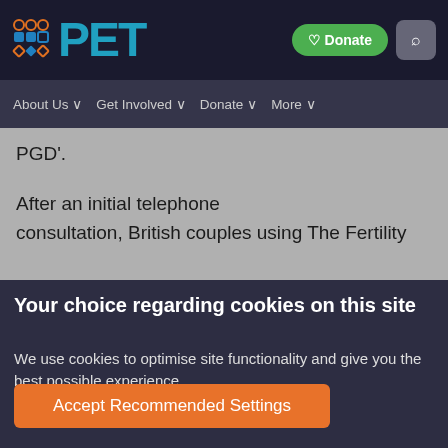PET — Donate | Search
About Us ∨   Get Involved ∨   Donate ∨   More ∨
PGD'.
After an initial telephone consultation, British couples using The Fertility
Your choice regarding cookies on this site
We use cookies to optimise site functionality and give you the best possible experience.
Accept Recommended Settings
Cookie Preferences